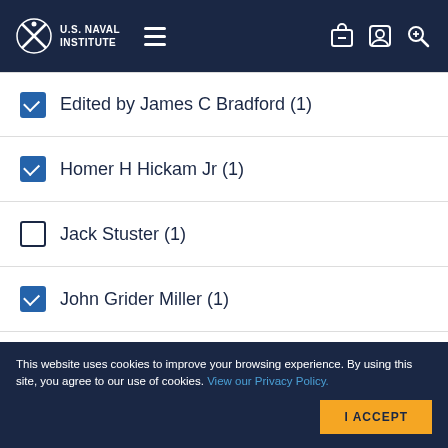U.S. Naval Institute
Edited by James C Bradford (1)
Homer H Hickam Jr (1)
Jack Stuster (1)
John Grider Miller (1)
Joseph R Owen (1)
Lawrence Suid (1)
This website uses cookies to improve your browsing experience. By using this site, you agree to our use of cookies. View our Privacy Policy.